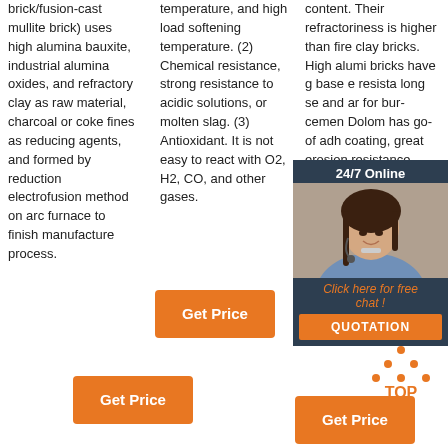brick/fusion-cast mullite brick) uses high alumina bauxite, industrial alumina oxides, and refractory clay as raw material, charcoal or coke fines as reducing agents, and formed by reduction electrofusion method on arc furnace to finish manufacture process.
temperature, and high load softening temperature. (2) Chemical resistance, strong resistance to acidic solutions, or molten slag. (3) Antioxidant. It is not easy to react with O2, H2, CO, and other gases.
content. Their refractoriness is higher than fire clay bricks. High alumina bricks have good acid-base erosion resistance, long service life, and are suitable for burning cement kilns. Dolomite brick has good property of adhesion, coating, great erosion resistance.
[Figure (infographic): 24/7 Online chat overlay with a photo of a customer service representative, a 'Click here for free chat!' link in orange, and a 'QUOTATION' button in orange.]
[Figure (other): TOP icon with orange dots and 'TOP' text in orange.]
Get Price
Get Price
Get Price